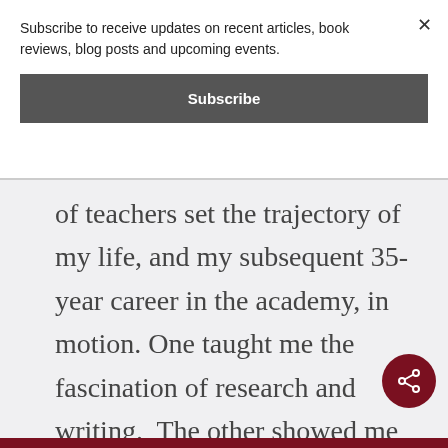Subscribe to receive updates on recent articles, book reviews, blog posts and upcoming events.
Subscribe
of teachers set the trajectory of my life, and my subsequent 35-year career in the academy, in motion. One taught me the fascination of research and writing.  The other showed me the majesty and power of the accumulated knowledge and wisdom of careful scholars dedicated to the pursuit of their craft.